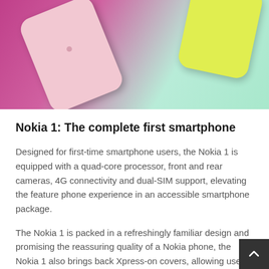[Figure (photo): Photo of Nokia 1 smartphones in pink and yellow-green colors on a colorful pink and mint green background]
Nokia 1: The complete first smartphone
Designed for first-time smartphone users, the Nokia 1 is equipped with a quad-core processor, front and rear cameras, 4G connectivity and dual-SIM support, elevating the feature phone experience in an accessible smartphone package.
The Nokia 1 is packed in a refreshingly familiar design and promising the reassuring quality of a Nokia phone, the Nokia 1 also brings back Xpress-on covers, allowing users to personalize their phones through a range of playful, vibrant colors.